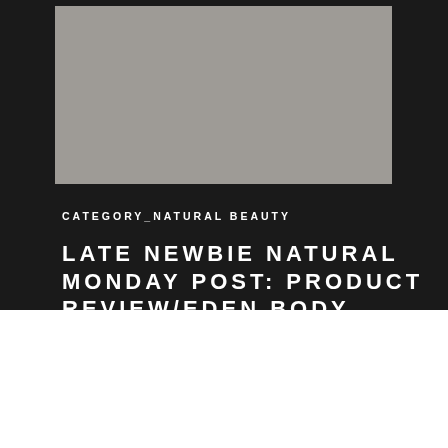[Figure (photo): Gray/neutral colored hero image placeholder at top of blog post]
CATEGORY_NATURAL BEAUTY
LATE NEWBIE NATURAL MONDAY POST: PRODUCT REVIEW/EDEN BODY WORKS
ABOUT
A Goddess is a woman who is everything she wants to be for herself. The girl in her is full of love, laughter, power, healing, and curves that tell a style story. Are you her?